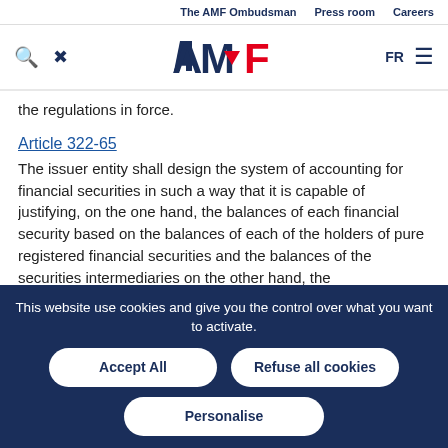The AMF Ombudsman   Press room   Careers
[Figure (logo): AMF logo with search and tools icons on left, FR language selector and hamburger menu on right]
the regulations in force.
Article 322-65
The issuer entity shall design the system of accounting for financial securities in such a way that it is capable of justifying, on the one hand, the balances of each financial security based on the balances of each of the holders of pure registered financial securities and the balances of the securities intermediaries on the other hand, the
This website use cookies and give you the control over what you want to activate.
Accept All
Refuse all cookies
Personalise